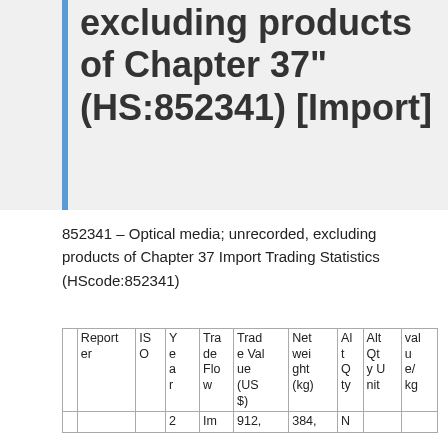excluding products of Chapter 37"(HS:852341) [Import]
852341 – Optical media; unrecorded, excluding products of Chapter 37 Import Trading Statistics (HScode:852341)
| Reporter | ISO | Year | Trade Flow | Trade Value (US$) | Net weight (kg) | Alt Qty | Alt Qty Unit | value/kg |
| --- | --- | --- | --- | --- | --- | --- | --- | --- |
|  |  | 2 | Im | 912, | 384, | N |  |  |